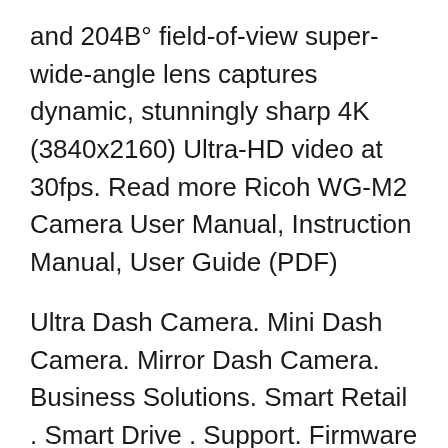and 204B° field-of-view super-wide-angle lens captures dynamic, stunningly sharp 4K (3840x2160) Ultra-HD video at 30fps. Read more Ricoh WG-M2 Camera User Manual, Instruction Manual, User Guide (PDF)
Ultra Dash Camera. Mini Dash Camera. Mirror Dash Camera. Business Solutions. Smart Retail . Smart Drive . Support. Firmware & App download . Product Support. Contact Us. Download PC/ MAC. Our Community. Shop Now top. Your world in 4K! Professional quality made for you! The camera with the most advanced technology to provide maximum fidelity, versatility, and ease of use. YI 4K Action Camera For Gearbest customers: If you've purchased the